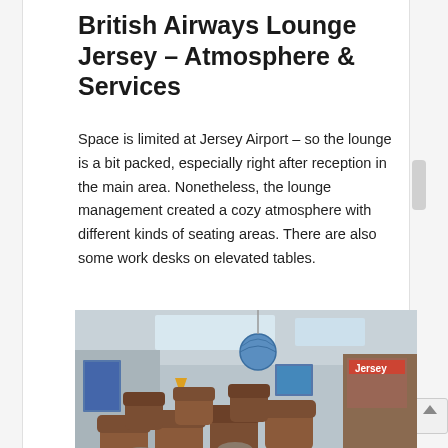British Airways Lounge Jersey – Atmosphere & Services
Space is limited at Jersey Airport – so the lounge is a bit packed, especially right after reception in the main area. Nonetheless, the lounge management created a cozy atmosphere with different kinds of seating areas. There are also some work desks on elevated tables.
[Figure (photo): Interior of British Airways Lounge at Jersey Airport showing brown leather armchairs and seating area with a globe decoration hanging from the ceiling, travel posters on walls, and a Jersey travel brochure display on the right.]
[Figure (photo): Second view of the British Airways Lounge interior at Jersey Airport, showing a wider angle of the seating area with the globe decoration, wall-mounted travel posters, and lounge chairs.]